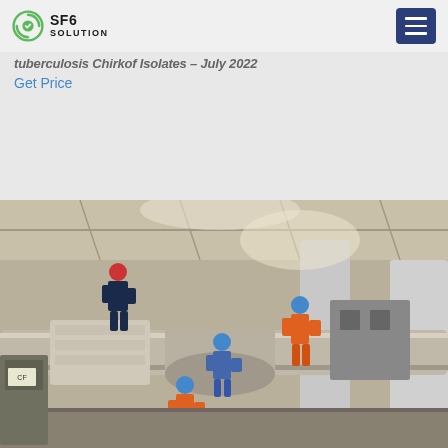SF6 SOLUTION
tuberculosis Chirkof Isolates – July 2022
Get Price
[Figure (photo): Workers in orange and blue coveralls and hard hats working on large industrial gas equipment pipes inside an industrial facility]